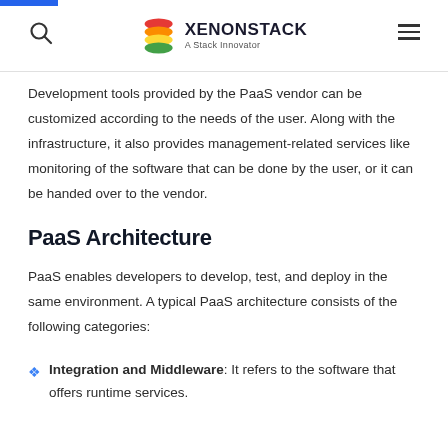XENONSTACK — A Stack Innovator
Development tools provided by the PaaS vendor can be customized according to the needs of the user. Along with the infrastructure, it also provides management-related services like monitoring of the software that can be done by the user, or it can be handed over to the vendor.
PaaS Architecture
PaaS enables developers to develop, test, and deploy in the same environment. A typical PaaS architecture consists of the following categories:
Integration and Middleware: It refers to the software that offers runtime services.